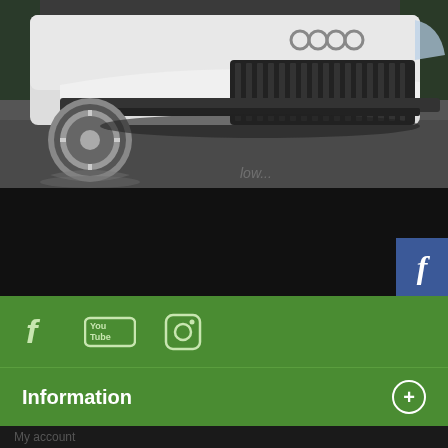[Figure (photo): Close-up photo of a lowered white Audi car's front bumper and wheel on asphalt, viewed from a low angle. The car has chrome aftermarket wheels and an aggressive front splitter. The photo is taken very low to the ground showing the reflection on wet pavement.]
[Figure (screenshot): Facebook floating button (blue square with white italic f) on the right side of the page]
[Figure (screenshot): Green social media bar with Facebook, YouTube, and Instagram icons]
Information
My account
Close